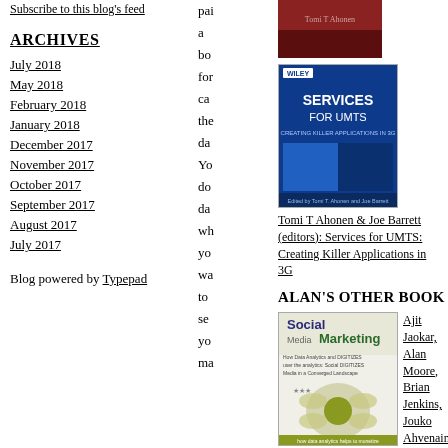Subscribe to this blog's feed
ARCHIVES
July 2018
May 2018
February 2018
January 2018
December 2017
November 2017
October 2017
September 2017
August 2017
July 2017
Blog powered by Typepad
pai
a
bo
for
ca
the
da
Yo
do
da
wh
yo
wa
to
se
yo
ma
[Figure (photo): Book cover image (red/dark) at top right]
[Figure (photo): Services for UMTS book cover - blue cover with title 'SERVICES FOR UMTS: Creating Killer Applications in 3G']
Tomi T Ahonen & Joe Barrett (editors): Services for UMTS: Creating Killer Applications in 3G
ALAN'S OTHER BOOK
[Figure (photo): Social Media Marketing book cover - white/green cover]
Ajit Jaokar, Alan Moore, Brian Jenkins, Jouko Ahvenainen: Social Media Marketing: How Data Analytics helps to monetize the User Base in Telecoms, Social Networks, Media and Advertising in a Converged